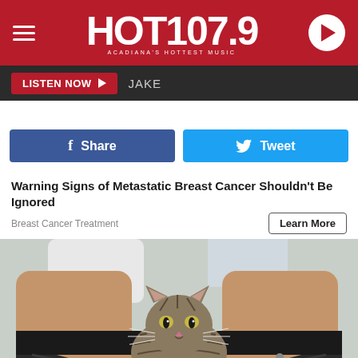[Figure (logo): HOT 107.9 radio station header with hamburger menu on left, HOT 107.9 Acadiana's Hottest Music logo in center, play button on right, red background]
LISTEN NOW ▶  JAKE
[Figure (other): Facebook Share button (blue) and Twitter Tweet button (light blue) side by side]
Warning Signs of Metastatic Breast Cancer Shouldn't Be Ignored
Breast Cancer Treatment
[Figure (photo): A tabby cat sitting inside the lowered pants of a person seated on a toilet, in a bathroom setting]